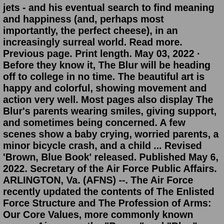jets - and his eventual search to find meaning and happiness (and, perhaps most importantly, the perfect cheese), in an increasingly surreal world. Read more. Previous page. Print length. May 03, 2022 · Before they know it, The Blur will be heading off to college in no time. The beautiful art is happy and colorful, showing movement and action very well. Most pages also display The Blur's parents wearing smiles, giving support, and sometimes being concerned. A few scenes show a baby crying, worried parents, a minor bicycle crash, and a child ... Revised 'Brown, Blue Book' released. Published May 6, 2022. Secretary of the Air Force Public Affairs. ARLINGTON, Va. (AFNS) --. The Air Force recently updated the contents of The Enlisted Force Structure and The Profession of Arms: Our Core Values, more commonly known among Airmen as the "Brown" and "Blue" books.Find blue book values and fair market prices on used guns, computers, stereos and more with online price guides and the most accurate used equipment data online. The bestselling workbook and